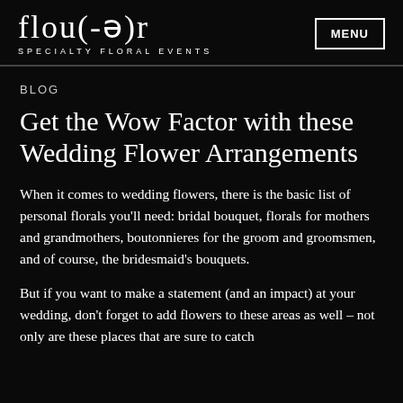flou(-ə)r SPECIALTY FLORAL EVENTS | MENU
BLOG
Get the Wow Factor with these Wedding Flower Arrangements
When it comes to wedding flowers, there is the basic list of personal florals you'll need: bridal bouquet, florals for mothers and grandmothers, boutonnieres for the groom and groomsmen, and of course, the bridesmaid's bouquets.
But if you want to make a statement (and an impact) at your wedding, don't forget to add flowers to these areas as well – not only are these places that are sure to catch